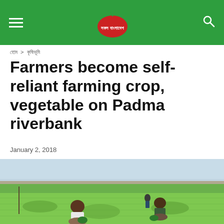Sofol Bangladesh - navigation header with logo
হোম > কৃষিভূমি
Farmers become self-reliant farming crop, vegetable on Padma riverbank
January 2, 2018
[Figure (photo): Two farmers working in a green crop field on the Padma riverbank, with a hazy sky and flat landscape in the background.]